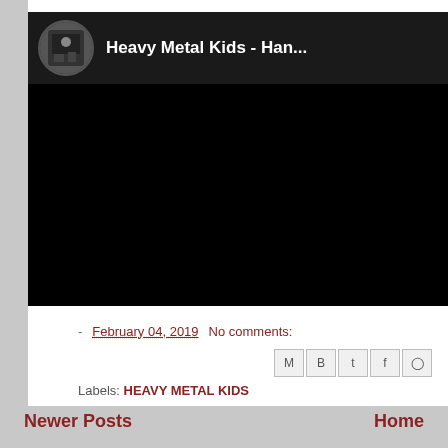[Figure (screenshot): Embedded YouTube video player showing 'Heavy Metal Kids - Han...' with a circular avatar/channel icon and dark video body area (black screen)]
- February 04, 2019   No comments:
Labels: HEAVY METAL KIDS
Newer Posts   Home